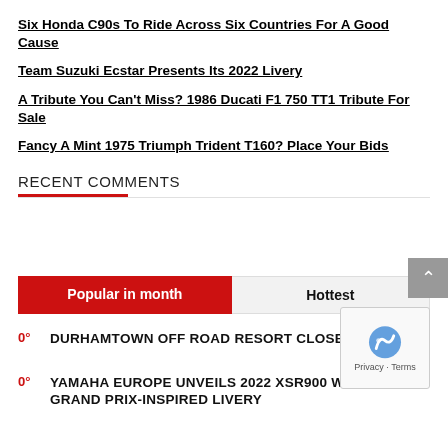Six Honda C90s To Ride Across Six Countries For A Good Cause
Team Suzuki Ecstar Presents Its 2022 Livery
A Tribute You Can't Miss? 1986 Ducati F1 750 TT1 Tribute For Sale
Fancy A Mint 1975 Triumph Trident T160? Place Your Bids
RECENT COMMENTS
Popular in month | Hottest
0° DURHAMTOWN OFF ROAD RESORT CLOSED
0° YAMAHA EUROPE UNVEILS 2022 XSR900 WITH GRAND PRIX-INSPIRED LIVERY